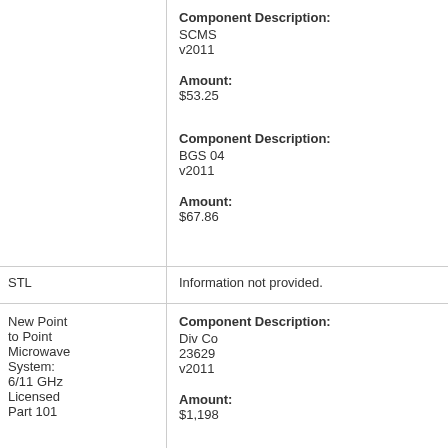| Category | Field | Value |
| --- | --- | --- |
|  | Component Description: | SCMS v2011 |
|  | Amount: | $53.25 |
|  | Component Description: | BGS 04 v2011 |
|  | Amount: | $67.86 |
| STL | Information not provided. |  |
| New Point to Point Microwave System: 6/11 GHz Licensed Part 101 | Component Description: | Div Co 23629 v2011 |
|  | Amount: | $1,198 |